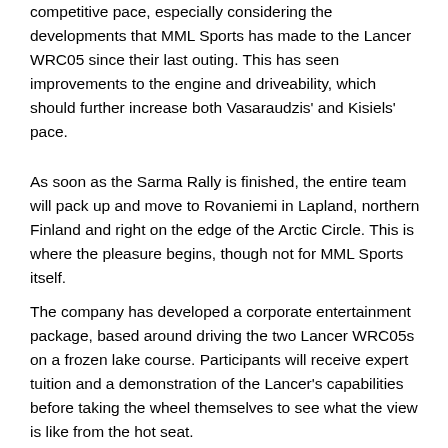competitive pace, especially considering the developments that MML Sports has made to the Lancer WRC05 since their last outing. This has seen improvements to the engine and driveability, which should further increase both Vasaraudzis' and Kisiels' pace.
As soon as the Sarma Rally is finished, the entire team will pack up and move to Rovaniemi in Lapland, northern Finland and right on the edge of the Arctic Circle. This is where the pleasure begins, though not for MML Sports itself.
The company has developed a corporate entertainment package, based around driving the two Lancer WRC05s on a frozen lake course. Participants will receive expert tuition and a demonstration of the Lancer's capabilities before taking the wheel themselves to see what the view is like from the hot seat.